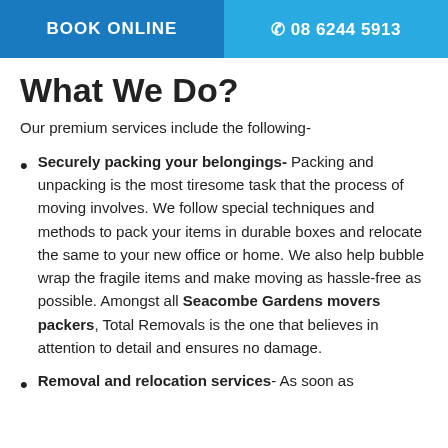BOOK ONLINE | 08 6244 5913
What We Do?
Our premium services include the following-
Securely packing your belongings- Packing and unpacking is the most tiresome task that the process of moving involves. We follow special techniques and methods to pack your items in durable boxes and relocate the same to your new office or home. We also help bubble wrap the fragile items and make moving as hassle-free as possible. Amongst all Seacombe Gardens movers packers, Total Removals is the one that believes in attention to detail and ensures no damage.
Removal and relocation services- As soon as